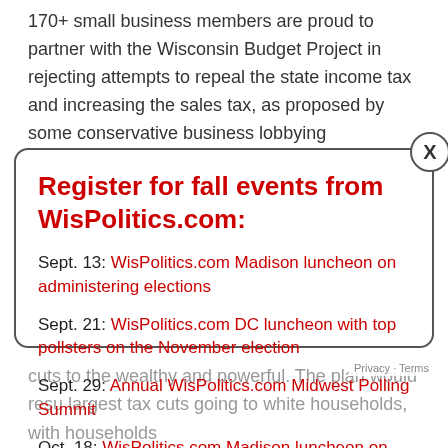170+ small business members are proud to partner with the Wisconsin Budget Project in rejecting attempts to repeal the state income tax and increasing the sales tax, as proposed by some conservative business lobbying organizations.
Register for fall events from WisPolitics.com:
Sept. 13: WisPolitics.com Madison luncheon on administering elections
Sept. 21: WisPolitics.com DC luncheon with top pollsters on the November election
Sept. 29: Annual WisPolitics.com Midwest Polling Summit
Oct. 18: WisPolitics.com Madison luncheon on top legislative races
cuts to the wealthy and powerful. The plan would resu largest tax cuts going to white households, with households